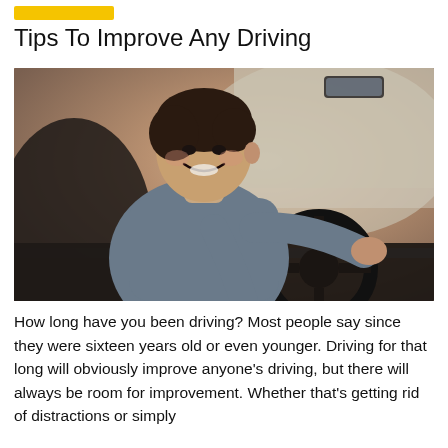[Figure (other): Yellow horizontal bar accent/label element at the top of the page]
Tips To Improve Any Driving
[Figure (photo): A smiling young man with dark hair sitting in the driver's seat of a car, turned toward the camera, with his hands on the steering wheel. The car interior is visible including dashboard and rearview mirror.]
How long have you been driving? Most people say since they were sixteen years old or even younger. Driving for that long will obviously improve anyone's driving, but there will always be room for improvement. Whether that's getting rid of distractions or simply